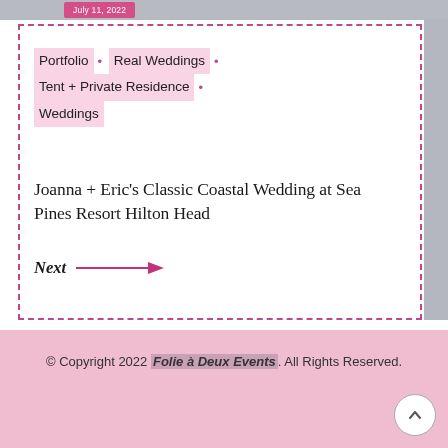July 11, 2022
Portfolio • Real Weddings • Tent + Private Residence • Weddings
Joanna + Eric's Classic Coastal Wedding at Sea Pines Resort Hilton Head
Next →
© Copyright 2022 Folie à Deux Events. All Rights Reserved.